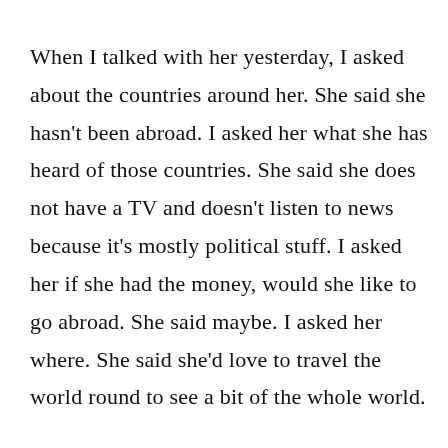When I talked with her yesterday, I asked about the countries around her. She said she hasn't been abroad. I asked her what she has heard of those countries. She said she does not have a TV and doesn't listen to news because it's mostly political stuff. I asked her if she had the money, would she like to go abroad. She said maybe. I asked her where. She said she'd love to travel the world round to see a bit of the whole world.